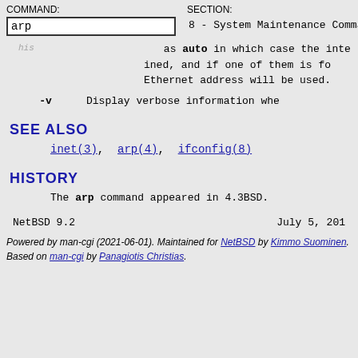COMMAND: arp   SECTION: 8 - System Maintenance Commands
as auto in which case the inte... ined, and if one of them is fo... Ethernet address will be used.
-v   Display verbose information whe...
SEE ALSO
inet(3), arp(4), ifconfig(8)
HISTORY
The arp command appeared in 4.3BSD.
NetBSD 9.2                        July 5, 201...
Powered by man-cgi (2021-06-01). Maintained for NetBSD by Kimmo Suominen. Based on man-cgi by Panagiotis Christias.